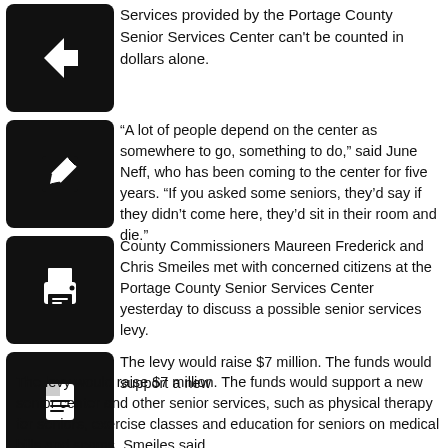[Figure (other): Back arrow icon button (black square with white left arrow)]
Services provided by the Portage County Senior Services Center can't be counted in dollars alone.
[Figure (other): Edit/compose icon button (black square with white pencil/edit icon)]
“A lot of people depend on the center as somewhere to go, something to do,” said June Neff, who has been coming to the center for five years. “If you asked some seniors, they’d say if they didn’t come here, they’d sit in their room and die.”
[Figure (other): Print icon button (black square with white printer icon)]
County Commissioners Maureen Frederick and Chris Smeiles met with concerned citizens at the Portage County Senior Services Center yesterday to discuss a possible senior services levy.
[Figure (other): PDF/document icon button (black square with white document icon)]
The levy would raise $7 million. The funds would support a new senior center and other senior services, such as physical therapy for seniors, exercise classes and education for seniors on medical bills and scams, Smeiles said.
“Right now the law in Ohio doesn’t do enough for seniors,” Smeiles said. “We’re trying to raise awareness and this is how to pay for it.”
The meeting was a preliminary work session. There will be further discussion over the next couple weeks.
“We’re starting a dialogue and trying to receive public input,”